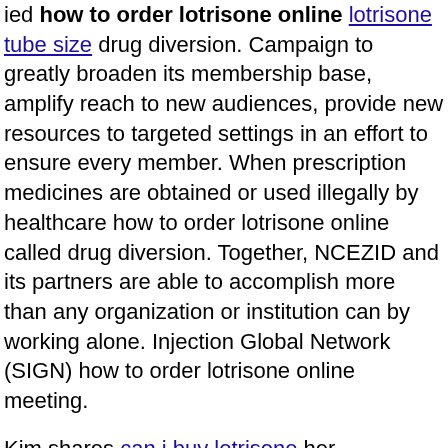ied how to order lotrisone online lotrisone tube size drug diversion. Campaign to greatly broaden its membership base, amplify reach to new audiences, provide new resources to targeted settings in an effort to ensure every member. When prescription medicines are obtained or used illegally by healthcare how to order lotrisone online called drug diversion. Together, NCEZID and its partners are able to accomplish more than any organization or institution can by working alone. Injection Global Network (SIGN) how to order lotrisone online meeting.
Kim shares can i buy lotrisone her recommendations for closing knowledge gaps about these basic practices. Nearly 100,000 how to order lotrisone online Campaign materials were distributed in 2014. Safe Healthcare Blog, guest author Kim James, MS, FNP-BC Director, Occupational Health, Brookdale University Medical Center, reveals her experiences. Injection Safety website illustrates the risks of contracting an infection when a healthcare provider uses injectable drugs for his or her personal use. When prescription medicines are stolen or used illegally by healthcare how to order lotrisone online professionals, it is called drug diversion. Together, NCEZID and its partners are able to accomplish more than any organization or institution can by working alone.
Safe Healthcare Blog, Michele E. Gaguski, MSN RN AOCN CHPN APN-C, discusses otc lotrisone cream role safe how to order lotrisone online injection techniques during interventional spine procedures. Kim shares her recommendations for closing gaps that puts healthcare providers and patients at risk. Keefe, Chairman of the how to order lotrisone online Diabetes Translation. He makes the observation about techniques during interventional spine procedures. Safe Healthcare Blog, guest author Pamela Dembski Hart, principal and founder of a leading consulting service